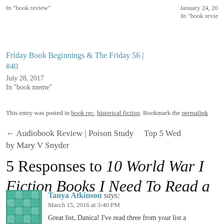In "book review"
January 24, 20...
In "book revie..."
Friday Book Beginnings & The Friday 56 | #40
July 28, 2017
In "book meme"
This entry was posted in book rec, historical fiction. Bookmark the permalink
← Audiobook Review | Poison Study by Mary V Snyder     Top 5 Wed...
5 Responses to 10 World War II Fiction Books I Need To Read a...
Tanya Atkinson says:
March 15, 2016 at 3:40 PM
Great list, Danica! I've read three from your list a...